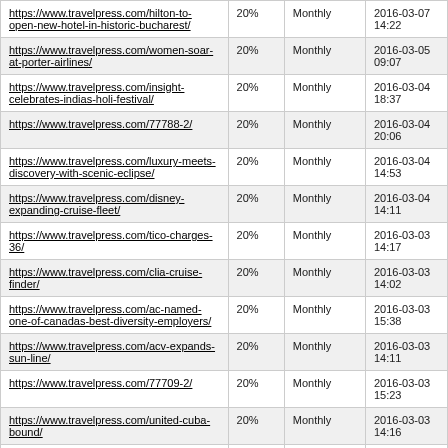| URL | Priority | Change Frequency | Last Modified |
| --- | --- | --- | --- |
| https://www.travelpress.com/hilton-to-open-new-hotel-in-historic-bucharest/ | 20% | Monthly | 2016-03-07 14:22 |
| https://www.travelpress.com/women-soar-at-porter-airlines/ | 20% | Monthly | 2016-03-05 09:07 |
| https://www.travelpress.com/insight-celebrates-indias-holi-festival/ | 20% | Monthly | 2016-03-04 18:37 |
| https://www.travelpress.com/77788-2/ | 20% | Monthly | 2016-03-04 20:06 |
| https://www.travelpress.com/luxury-meets-discovery-with-scenic-eclipse/ | 20% | Monthly | 2016-03-04 14:53 |
| https://www.travelpress.com/disney-expanding-cruise-fleet/ | 20% | Monthly | 2016-03-04 14:11 |
| https://www.travelpress.com/tico-charges-36/ | 20% | Monthly | 2016-03-03 14:17 |
| https://www.travelpress.com/clia-cruise-finder/ | 20% | Monthly | 2016-03-03 14:02 |
| https://www.travelpress.com/ac-named-one-of-canadas-best-diversity-employers/ | 20% | Monthly | 2016-03-03 15:38 |
| https://www.travelpress.com/acv-expands-sun-line/ | 20% | Monthly | 2016-03-03 14:11 |
| https://www.travelpress.com/77709-2/ | 20% | Monthly | 2016-03-03 15:23 |
| https://www.travelpress.com/united-cuba-bound/ | 20% | Monthly | 2016-03-03 14:16 |